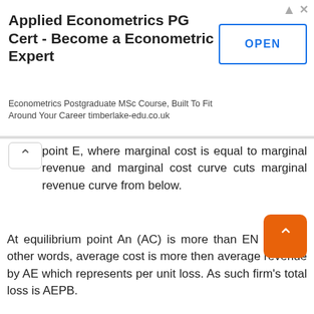[Figure (other): Advertisement banner: 'Applied Econometrics PG Cert - Become a Econometric Expert' with an OPEN button and subtitle 'Econometrics Postgraduate MSc Course, Built To Fit Around Your Career timberlake-edu.co.uk']
point E, where marginal cost is equal to marginal revenue and marginal cost curve cuts marginal revenue curve from below.
At equilibrium point An (AC) is more than EN (AR). In other words, average cost is more then average revenue by AE which represents per unit loss. As such firm’s total loss is AEPB.
Per Unit Loss = AE
Total Loss      = AEPB
From the above discussion, we may conclude from